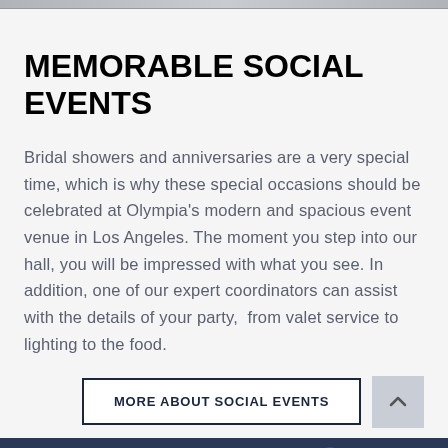[Figure (photo): Top image strip — partial photo of an event venue, cropped at top of page]
MEMORABLE SOCIAL EVENTS
Bridal showers and anniversaries are a very special time, which is why these special occasions should be celebrated at Olympia's modern and spacious event venue in Los Angeles. The moment you step into our hall, you will be impressed with what you see. In addition, one of our expert coordinators can assist with the details of your party,  from valet service to lighting to the food.
MORE ABOUT SOCIAL EVENTS
[Figure (photo): Bottom partial photo showing a person (back view) in a dark event hall with bokeh lighting]